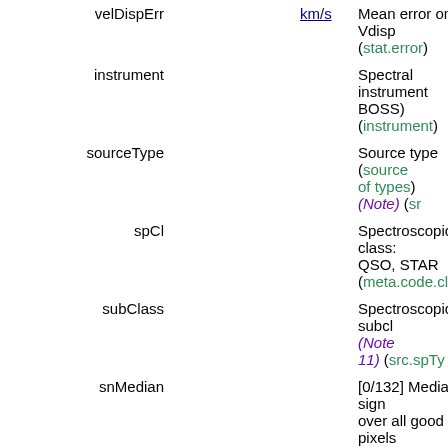| Name | Value | Unit | Description |
| --- | --- | --- | --- |
| velDispErr |  | km/s | (velDisp) (phys.velo... (stat.error) |
| instrument |  |  | Spectral instrument... BOSS) (instrument) |
| sourceType |  |  | Source type (source... of types) (Note) (s... |
| spCl |  |  | Spectroscopic class:... QSO, STAR (meta.code.class;pos... |
| subClass |  |  | Spectroscopic subcl... (Note 11) (src.spTy... |
| snMedian |  |  | [0/132] Median sign... over all good pixels (em.wl.central;stat.n... |
| flags_u | 9007199388991489 |  | Detection flags, u ba... (Note 3) (meta.cod... |
| probPSF_u | 1 |  | 0=notStar, 1=Star in... (probPSF_u) (src.cl... |
| type_u | 6 |  | [0/6] Phototype in u... (type_u) (Note 1) (src.class.starGalax... |
| uDate | 2003.8091 | yr | Date of observation... |